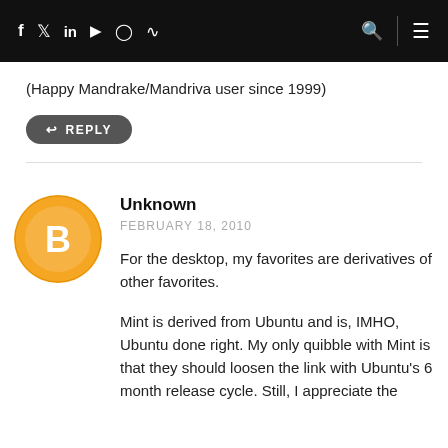f  Twitter  in  YouTube  Instagram  RSS  Search  Menu
(Happy Mandrake/Mandriva user since 1999)
REPLY
[Figure (illustration): Orange circular blogger avatar icon with white B letter]
Unknown
FEBRUARY 18, 2010

For the desktop, my favorites are derivatives of other favorites.

Mint is derived from Ubuntu and is, IMHO, Ubuntu done right. My only quibble with Mint is that they should loosen the link with Ubuntu's 6 month release cycle. Still, I appreciate the